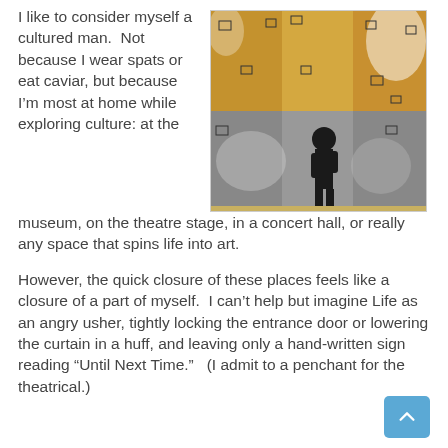I like to consider myself a cultured man.  Not because I wear spats or eat caviar, but because I'm most at home while exploring culture: at the museum, on the theatre stage, in a concert hall, or really any space that spins life into art.
[Figure (photo): A silhouette of a person standing in front of a large multi-panel artwork in a museum gallery. The artwork features dense imagery with warm and cool tones.]
However, the quick closure of these places feels like a closure of a part of myself.  I can't help but imagine Life as an angry usher, tightly locking the entrance door or lowering the curtain in a huff, and leaving only a hand-written sign reading “Until Next Time.”   (I admit to a penchant for the theatrical.)